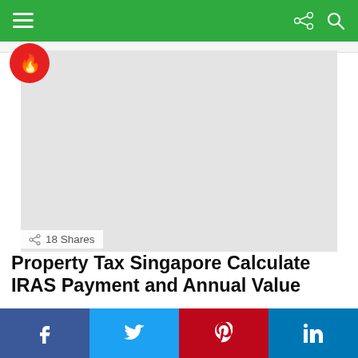Navigation bar with menu, share, and search icons
[Figure (illustration): Hero image placeholder with flame logo icon in top-left corner, showing a light gray rectangle. Share count overlay: 18 Shares.]
18 Shares
Property Tax Singapore Calculate IRAS Payment and Annual Value
by Sijie LIM • 9 months ago
Social share bar: Facebook, Twitter, Pinterest, LinkedIn